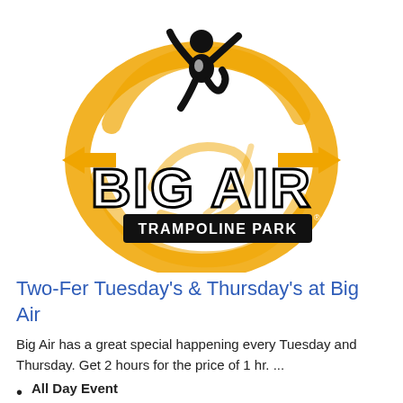[Figure (logo): Big Air Trampoline Park logo: orange circular swoosh with arrow, black silhouette of person jumping, white bold text 'BIG AIR' and black banner with white text 'TRAMPOLINE PARK']
Two-Fer Tuesday's & Thursday's at Big Air
Big Air has a great special happening every Tuesday and Thursday. Get 2 hours for the price of 1 hr. ...
All Day Event